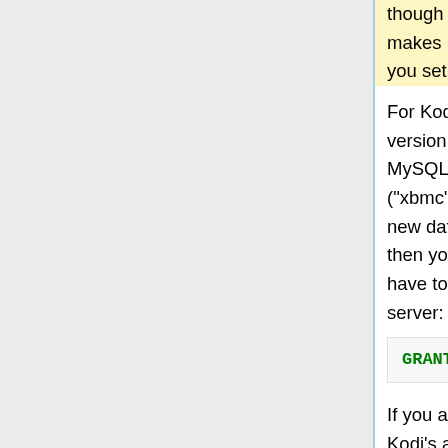though the program has changed names to Kodi. It makes no difference as long as that is the name you set up MySQL with.
For Kodi to update the library from a previous version, you may need to make changes to your MySQL server. The user made for the MySQL DB ("xbmc" in most guides) will need access to create new databases. If the user already has that access then you don't need to do anything. If not, you will have to use the following command on your MySQL server:
GRANT ALL ON *.* TO 'kodi';
If you are worried about security then you can limit Kodi's access in MySQL once it has created the new video DB.